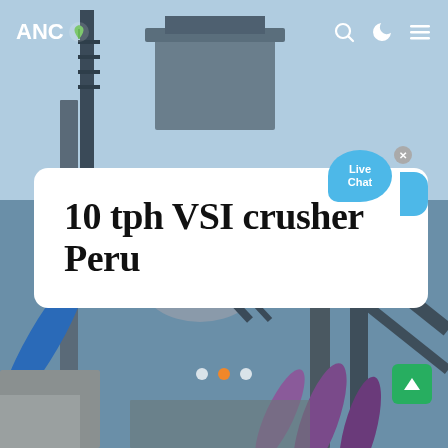[Figure (photo): Industrial VSI crusher equipment / machinery installation with steel frame structure, pipes, and mechanical components against a light blue sky background]
ANC (logo with leaf icon) | search icon | dark mode icon | menu icon
10 tph VSI crusher Peru
[Figure (other): Live Chat speech bubble widget with close button (x) in top right]